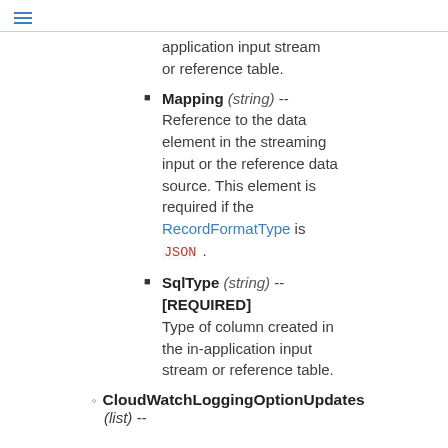≡
application input stream or reference table.
Mapping (string) -- Reference to the data element in the streaming input or the reference data source. This element is required if the RecordFormatType is JSON .
SqlType (string) -- [REQUIRED] Type of column created in the in-application input stream or reference table.
CloudWatchLoggingOptionUpdates (list) --